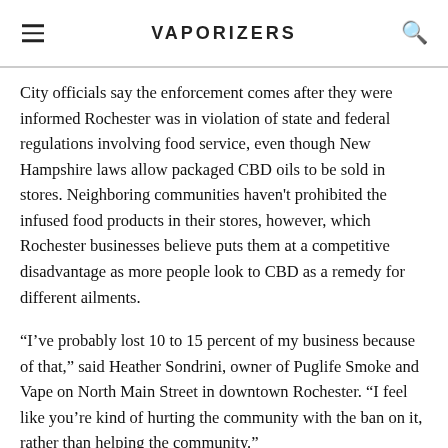VAPORIZERS
City officials say the enforcement comes after they were informed Rochester was in violation of state and federal regulations involving food service, even though New Hampshire laws allow packaged CBD oils to be sold in stores. Neighboring communities haven't prohibited the infused food products in their stores, however, which Rochester businesses believe puts them at a competitive disadvantage as more people look to CBD as a remedy for different ailments.
“I’ve probably lost 10 to 15 percent of my business because of that,” said Heather Sondrini, owner of Puglife Smoke and Vape on North Main Street in downtown Rochester. “I feel like you’re kind of hurting the community with the ban on it, rather than helping the community.”
Affected businesses include Puglife, Fresh Vibes Cafe and multiple vape and convenience stores, according to the